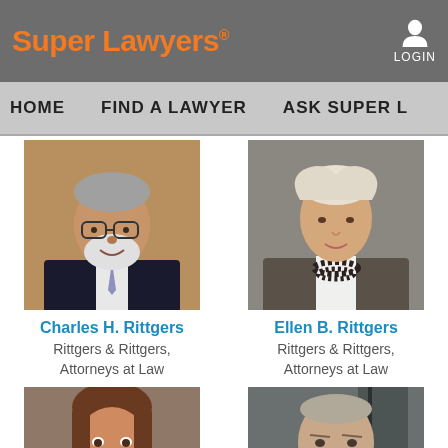Super Lawyers® | LOGIN
HOME   FIND A LAWYER   ASK SUPER L
[Figure (photo): Portrait photo of Charles H. Rittgers, older man with glasses and white beard, wearing suit with tie]
Charles H. Rittgers
Rittgers & Rittgers, Attorneys at Law
[Figure (photo): Portrait photo of Ellen B. Rittgers, woman with blonde/white hair, wearing grey suit with beaded necklace]
Ellen B. Rittgers
Rittgers & Rittgers, Attorneys at Law
[Figure (photo): Portrait photo of younger woman with brown hair, smiling]
[Figure (photo): Portrait photo of older man in suit, serious expression, blue/grey background]